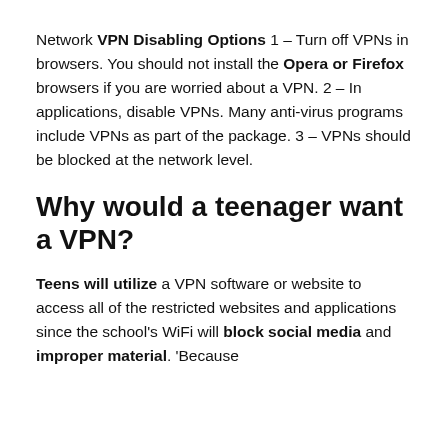Network VPN Disabling Options 1 – Turn off VPNs in browsers. You should not install the Opera or Firefox browsers if you are worried about a VPN. 2 – In applications, disable VPNs. Many anti-virus programs include VPNs as part of the package. 3 – VPNs should be blocked at the network level.
Why would a teenager want a VPN?
Teens will utilize a VPN software or website to access all of the restricted websites and applications since the school's WiFi will block social media and improper material. 'Because